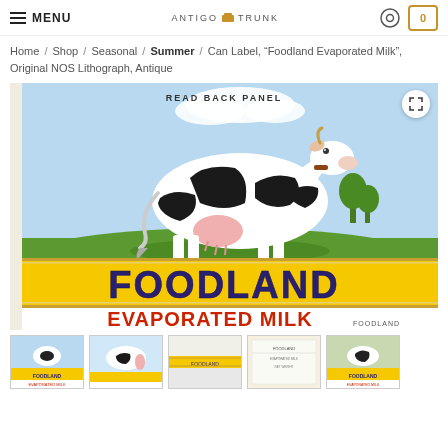MENU | Antigo Trunk | [account icon] | 0
Home / Shop / Seasonal / Summer / Can Label, "Foodland Evaporated Milk", Original NOS Lithograph, Antique
[Figure (photo): Antique can label for Foodland Evaporated Milk showing a black and white dairy cow standing in a green pasture with blue sky background. Below the cow is a yellow banner with dark blue text reading FOODLAND, and below that red text reading EVAPORATED MILK. Top of label reads READ BACK PANEL.]
[Figure (photo): Thumbnail 1: Foodland Evaporated Milk label close-up showing cow and text]
[Figure (photo): Thumbnail 2: Foodland Evaporated Milk label showing cow]
[Figure (photo): Thumbnail 3: Foodland label variant]
[Figure (photo): Thumbnail 4: Foodland label text panel]
[Figure (photo): Thumbnail 5: Foodland Evaporated Milk label variant]